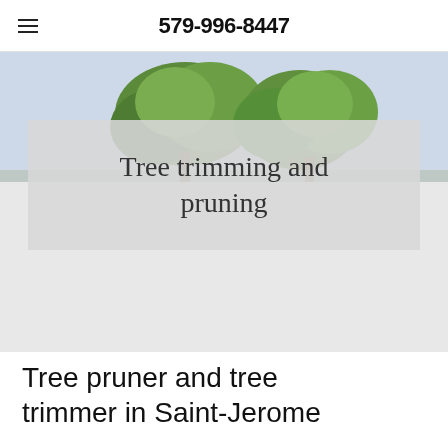579-996-8447
[Figure (photo): A tree with green foliage against a light blue-gray sky, hero banner image]
Tree trimming and pruning
Tree pruner and tree trimmer in Saint-Jerome